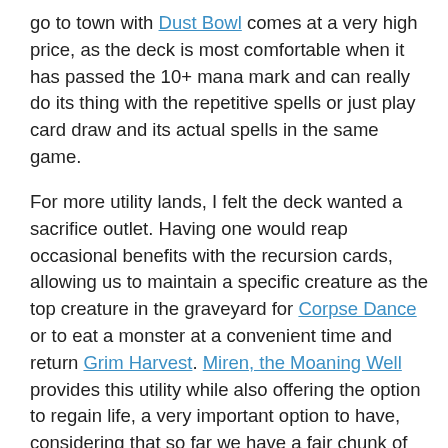go to town with Dust Bowl comes at a very high price, as the deck is most comfortable when it has passed the 10+ mana mark and can really do its thing with the repetitive spells or just play card draw and its actual spells in the same game.
For more utility lands, I felt the deck wanted a sacrifice outlet. Having one would reap occasional benefits with the recursion cards, allowing us to maintain a specific creature as the top creature in the graveyard for Corpse Dance or to eat a monster at a convenient time and return Grim Harvest. Miren, the Moaning Well provides this utility while also offering the option to regain life, a very important option to have, considering that so far we have a fair chunk of cards that use life as a resource and precious few ways to gain life points back. High Market makes the same offer but less life for less mana, and I felt it best to commit to Miren: when it comes up, we'll be happy to spend a little mana to gain a considerable chunk